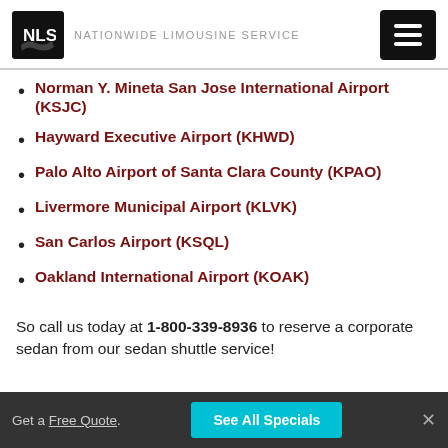NLS NATIONWIDE LIMOUSINE SERVICE
Norman Y. Mineta San Jose International Airport (KSJC)
Hayward Executive Airport (KHWD)
Palo Alto Airport of Santa Clara County (KPAO)
Livermore Municipal Airport (KLVK)
San Carlos Airport (KSQL)
Oakland International Airport (KOAK)
So call us today at 1-800-339-8936 to reserve a corporate sedan from our sedan shuttle service!
Get a Free Quote. See All Specials